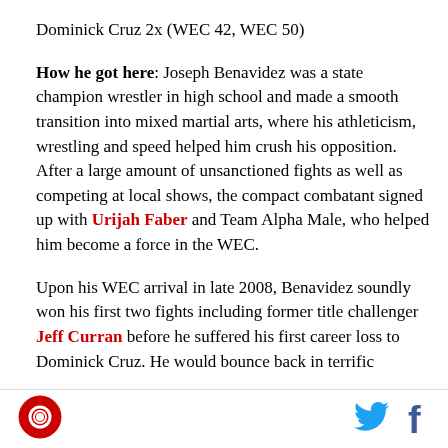Dominick Cruz 2x (WEC 42, WEC 50)
How he got here: Joseph Benavidez was a state champion wrestler in high school and made a smooth transition into mixed martial arts, where his athleticism, wrestling and speed helped him crush his opposition. After a large amount of unsanctioned fights as well as competing at local shows, the compact combatant signed up with Urijah Faber and Team Alpha Male, who helped him become a force in the WEC.
Upon his WEC arrival in late 2008, Benavidez soundly won his first two fights including former title challenger Jeff Curran before he suffered his first career loss to Dominick Cruz. He would bounce back in terrific
[Figure (logo): Red circular logo with camera/lens icon]
[Figure (logo): Twitter bird icon in blue]
[Figure (logo): Facebook f icon in dark blue]